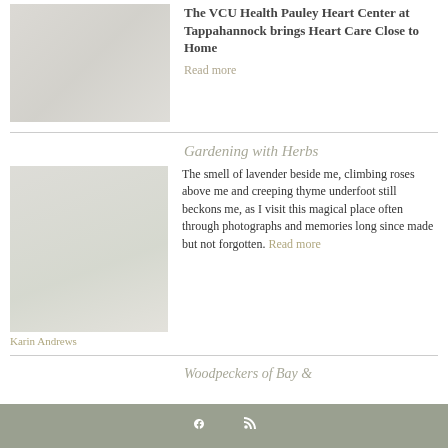[Figure (photo): Photo of a family making heart shapes with their hands outdoors]
The VCU Health Pauley Heart Center at Tappahannock brings Heart Care Close to Home
Read more
Gardening with Herbs
[Figure (photo): Photo of a garden with herbs and lavender plants]
The smell of lavender beside me, climbing roses above me and creeping thyme underfoot still beckons me, as I visit this magical place often through photographs and memories long since made but not forgotten. Read more
Karin Andrews
Woodpeckers of Bay &
f  rss